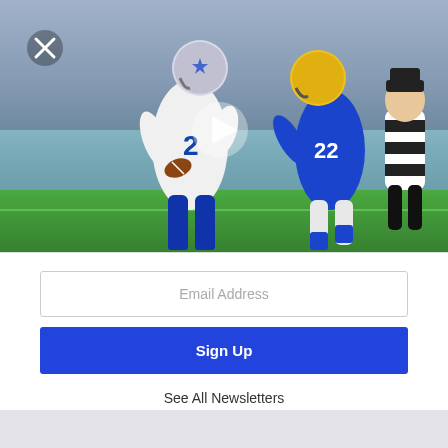[Figure (photo): NFL football game photo showing a Dallas Cowboys player wearing #2 in white uniform carrying the ball, evading a Los Angeles Chargers defender in blue #22 uniform, with a referee in black and white stripes in the background. A play button overlay is visible in the center of the image. A close/X button is in the top left corner.]
Email Address
Sign Up
See All Newsletters